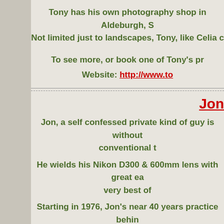Tony has his own photography shop in Aldeburgh, S... Not limited just to landscapes, Tony, like Celia c...
To see more, or book one of Tony's pr...
Website: http://www.to...
Jon
Jon, a self confessed private kind of guy is without... conventional t...
He wields his Nikon D300 & 600mm lens with great ea... very best of...
Starting in 1976, Jon's near 40 years practice behin... Bird Guides "Photo of the Week (so far)" awards ar... ve...
To see more b...